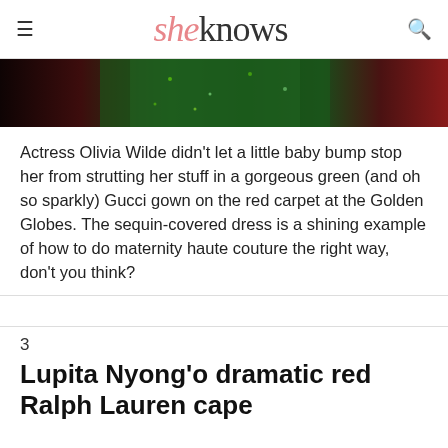sheknows
[Figure (photo): Partial photo of a person in a green sequined gown on a red carpet background]
Actress Olivia Wilde didn't let a little baby bump stop her from strutting her stuff in a gorgeous green (and oh so sparkly) Gucci gown on the red carpet at the Golden Globes. The sequin-covered dress is a shining example of how to do maternity haute couture the right way, don't you think?
3
Lupita Nyong'o dramatic red Ralph Lauren cape